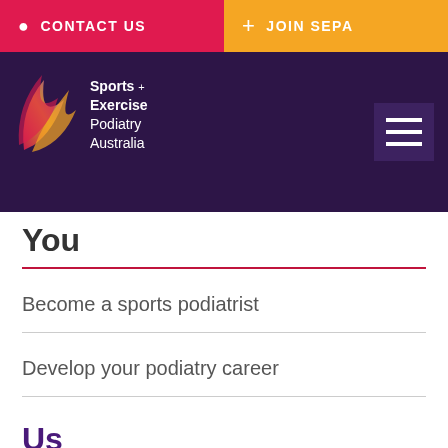CONTACT US | JOIN SEPA
[Figure (logo): Sports + Exercise Podiatry Australia logo with stylized swoosh in pink, orange, purple gradient on dark purple background, with hamburger menu icon on right]
You
Become a sports podiatrist
Develop your podiatry career
Us
Who We Are